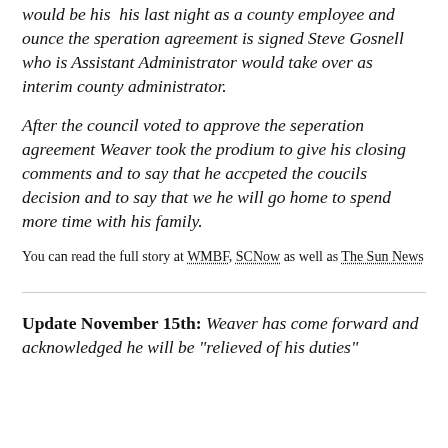would be his  his last night as a county employee and ounce the speration agreement is signed Steve Gosnell who is Assistant Administrator would take over as interim county administrator.
After the council voted to approve the seperation agreement Weaver took the prodium to give his closing comments and to say that he accpeted the coucils decision and to say that we he will go home to spend more time with his family.
You can read the full story at WMBF, SCNow as well as The Sun News
Update November 15th: Weaver has come forward and acknowledged he will be "relieved of his duties"